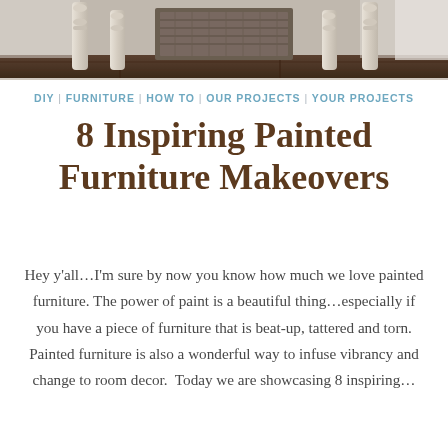[Figure (photo): Photo of furniture legs (white painted turned legs) with a dark wicker/rattan basket or chest in the center background, on a dark wood floor. Partial view of a bed or furniture piece.]
DIY | FURNITURE | HOW TO | OUR PROJECTS | YOUR PROJECTS
8 Inspiring Painted Furniture Makeovers
Hey y'all…I'm sure by now you know how much we love painted furniture. The power of paint is a beautiful thing…especially if you have a piece of furniture that is beat-up, tattered and torn. Painted furniture is also a wonderful way to infuse vibrancy and change to room decor.  Today we are showcasing 8 inspiring…